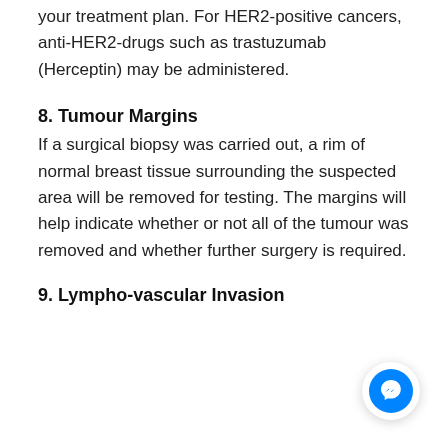your treatment plan. For HER2-positive cancers, anti-HER2-drugs such as trastuzumab (Herceptin) may be administered.
8. Tumour Margins
If a surgical biopsy was carried out, a rim of normal breast tissue surrounding the suspected area will be removed for testing. The margins will help indicate whether or not all of the tumour was removed and whether further surgery is required.
9. Lympho-vascular Invasion